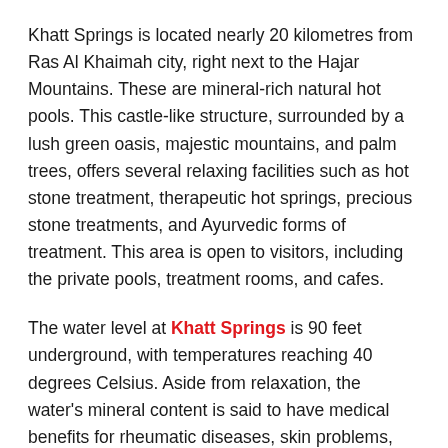Khatt Springs is located nearly 20 kilometres from Ras Al Khaimah city, right next to the Hajar Mountains. These are mineral-rich natural hot pools. This castle-like structure, surrounded by a lush green oasis, majestic mountains, and palm trees, offers several relaxing facilities such as hot stone treatment, therapeutic hot springs, precious stone treatments, and Ayurvedic forms of treatment. This area is open to visitors, including the private pools, treatment rooms, and cafes.
The water level at Khatt Springs is 90 feet underground, with temperatures reaching 40 degrees Celsius. Aside from relaxation, the water's mineral content is said to have medical benefits for rheumatic diseases, skin problems, and muscle problems. Dermatitis and rheumatic ailments are also treated here.
The surrounding area, which contains approximately 170 and tourists visit to be visited. Because of it...